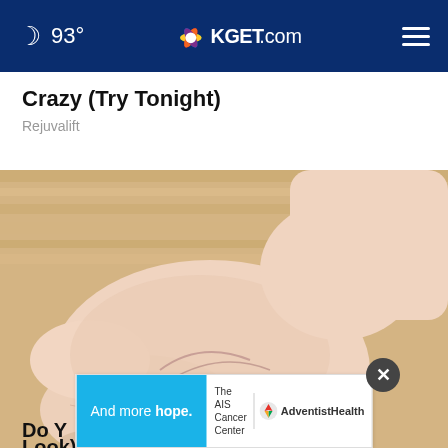93° | KGET.com
Crazy (Try Tonight)
Rejuvalift
[Figure (photo): Close-up photo of a person's foot and ankle showing dry, cracked skin and visible veins, being held by a hand, on a wooden floor background.]
Do ... (Take a Look)
[Figure (infographic): Advertisement banner: 'And more hope.' with The AIS Cancer Center and Adventist Health logos.]